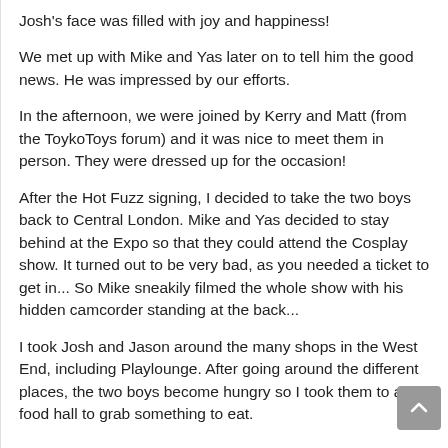Josh's face was filled with joy and happiness!
We met up with Mike and Yas later on to tell him the good news. He was impressed by our efforts.
In the afternoon, we were joined by Kerry and Matt (from the ToykoToys forum) and it was nice to meet them in person. They were dressed up for the occasion!
After the Hot Fuzz signing, I decided to take the two boys back to Central London. Mike and Yas decided to stay behind at the Expo so that they could attend the Cosplay show. It turned out to be very bad, as you needed a ticket to get in... So Mike sneakily filmed the whole show with his hidden camcorder standing at the back...
I took Josh and Jason around the many shops in the West End, including Playlounge. After going around the different places, the two boys become hungry so I took them to a food hall to grab something to eat.